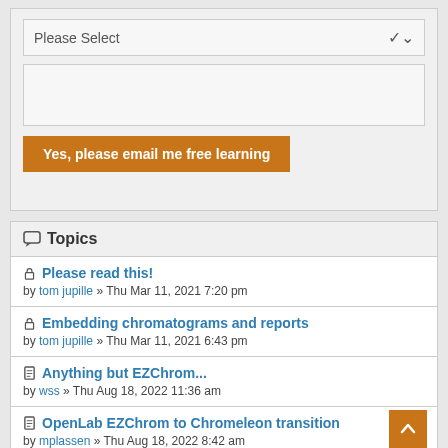Please Select
Yes, please email me free learning
Topics
Please read this! by tom jupille » Thu Mar 11, 2021 7:20 pm
Embedding chromatograms and reports by tom jupille » Thu Mar 11, 2021 6:43 pm
Anything but EZChrom... by wss » Thu Aug 18, 2022 11:36 am
OpenLab EZChrom to Chromeleon transition by mplassen » Thu Aug 18, 2022 8:42 am
Calibration Report Issue Empower 3 by HerbalChem » Tue Aug 16, 2022 2:47 pm